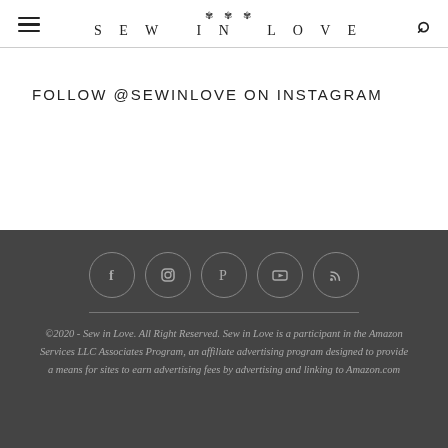SEW IN LOVE
FOLLOW @SEWINLOVE ON INSTAGRAM
[Figure (illustration): Social media icons in circles: Facebook, Instagram, Pinterest, YouTube, RSS]
©2020 - Sew in Love. All Right Reserved. Sew in Love is a participant in the Amazon Services LLC Associates Program, an affiliate advertising program designed to provide a means for sites to earn advertising fees by advertising and linking to Amazon.com